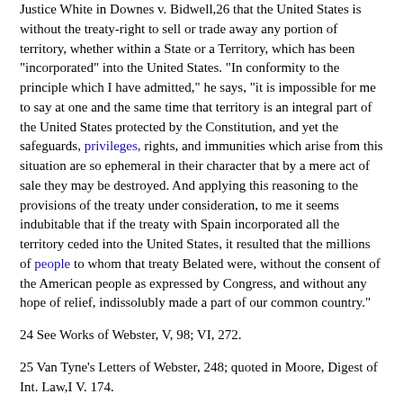Justice White in Downes v. Bidwell,26 that the United States is without the treaty-right to sell or trade away any portion of territory, whether within a State or a Territory, which has been "incorporated" into the United States. "In conformity to the principle which I have admitted," he says, "it is impossible for me to say at one and the same time that territory is an integral part of the United States protected by the Constitution, and yet the safeguards, privileges, rights, and immunities which arise from this situation are so ephemeral in their character that by a mere act of sale they may be destroyed. And applying this reasoning to the provisions of the treaty under consideration, to me it seems indubitable that if the treaty with Spain incorporated all the territory ceded into the United States, it resulted that the millions of people to whom that treaty Belated were, without the consent of the American people as expressed by Congress, and without any hope of relief, indissolubly made a part of our common country."
24 See Works of Webster, V, 98; VI, 272.
25 Van Tyne's Letters of Webster, 248; quoted in Moore, Digest of Int. Law,I V. 174.
26 Concurred in by Justices Shiras, McKenna and Gray.